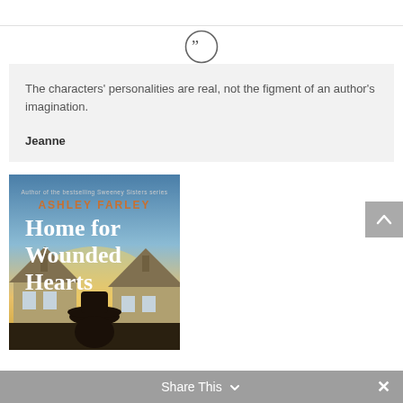[Figure (other): Quotation mark icon inside a circle, gray outline]
The characters' personalities are real, not the figment of an author's imagination.
Jeanne
[Figure (photo): Book cover: Home for Wounded Hearts by Ashley Farley. Shows a figure in a hat in front of houses at dawn/dusk.]
Share This  ✓  ✕